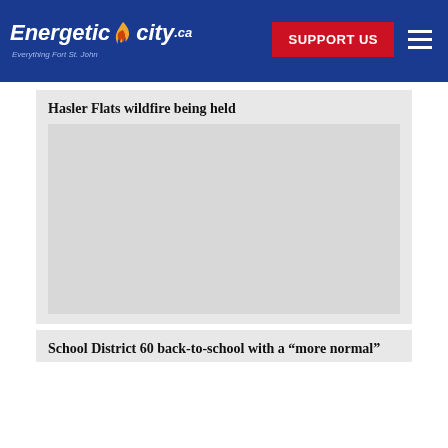Energetic City.ca — Everything Fort St. John | SUPPORT US
Hasler Flats wildfire being held
[Figure (photo): Placeholder image area for the Hasler Flats wildfire article]
School District 60 back-to-school with a “more normal”